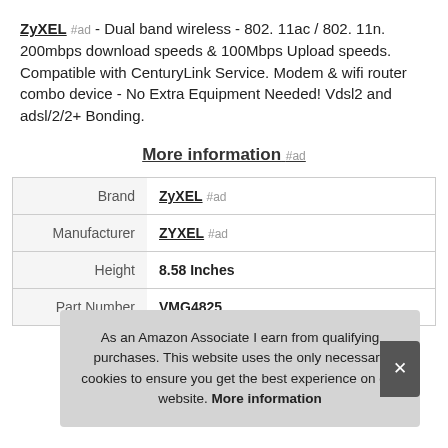ZyXEL #ad - Dual band wireless - 802. 11ac / 802. 11n. 200mbps download speeds & 100Mbps Upload speeds. Compatible with CenturyLink Service. Modem & wifi router combo device - No Extra Equipment Needed! Vdsl2 and adsl/2/2+ Bonding.
More information #ad
| Brand | ZyXEL #ad |
| Manufacturer | ZYXEL #ad |
| Height | 8.58 Inches |
| Part Number | VMG4825 |
As an Amazon Associate I earn from qualifying purchases. This website uses the only necessary cookies to ensure you get the best experience on our website. More information